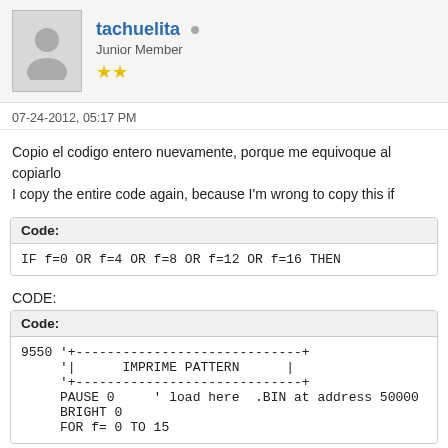tachuelita · Junior Member ★★
07-24-2012, 05:17 PM
Copio el codigo entero nuevamente, porque me equivoque al copiarlo
I copy the entire code again, because I'm wrong to copy this if
Code:
IF f=0 OR f=4 OR f=8 OR f=12 OR f=16 THEN
CODE:
Code:
9550 '+-----------------------------+
     '|      IMPRIME PATTERN      |
     '+-----------------------------+
     PAUSE 0     ' load here  .BIN at address 50000
     BRIGHT 0
     FOR f= 0 TO 15